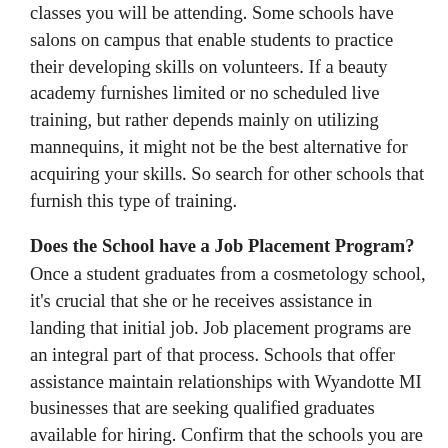classes you will be attending. Some schools have salons on campus that enable students to practice their developing skills on volunteers. If a beauty academy furnishes limited or no scheduled live training, but rather depends mainly on utilizing mannequins, it might not be the best alternative for acquiring your skills. So search for other schools that furnish this type of training.
Does the School have a Job Placement Program?
Once a student graduates from a cosmetology school, it's crucial that she or he receives assistance in landing that initial job. Job placement programs are an integral part of that process. Schools that offer assistance maintain relationships with Wyandotte MI businesses that are seeking qualified graduates available for hiring. Confirm that the schools you are contemplating have job placement programs and inquire which salons and establishments they refer students to. Additionally, find out what their job placement rate is. Higher rates are